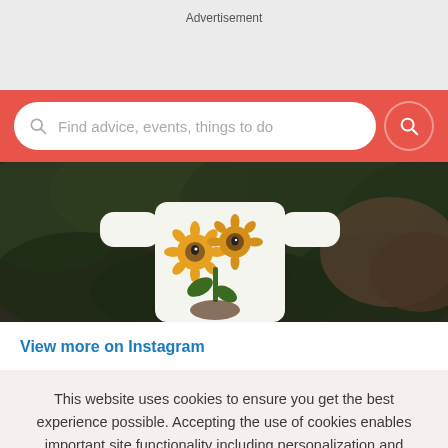Advertisement
[Figure (screenshot): Red search bar with search input field showing placeholder text 'Find advice, events, things to do' and a red search button on a red background]
[Figure (photo): Person wearing a white long-sleeve shirt with a yellow sunflower graphic design, standing in front of dark green foliage background - Instagram post image]
View more on Instagram
This website uses cookies to ensure you get the best experience possible. Accepting the use of cookies enables important site functionality including personalization and analytics.
Accept
Decline